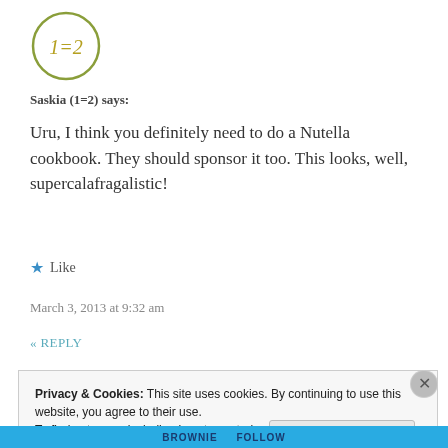[Figure (logo): Circular logo with handwritten-style text '1=2' in olive/yellow-green color, inside a green circle outline]
Saskia (1=2) says:
Uru, I think you definitely need to do a Nutella cookbook. They should sponsor it too. This looks, well, supercalafragalistic!
★ Like
March 3, 2013 at 9:32 am
« REPLY
Privacy & Cookies: This site uses cookies. By continuing to use this website, you agree to their use.
To find out more, including how to control cookies, see here:
Cookie Policy
Close and accept